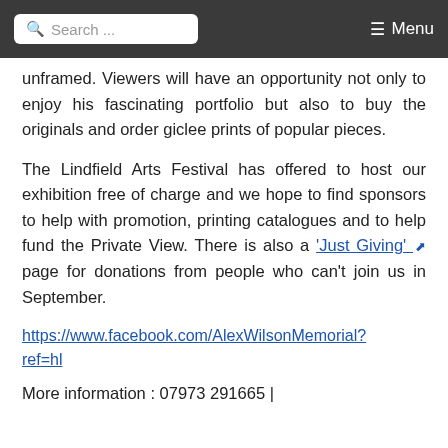Search ... Menu
unframed. Viewers will have an opportunity not only to enjoy his fascinating portfolio but also to buy the originals and order giclee prints of popular pieces.
The Lindfield Arts Festival has offered to host our exhibition free of charge and we hope to find sponsors to help with promotion, printing catalogues and to help fund the Private View. There is also a 'Just Giving' page for donations from people who can't join us in September.
https://www.facebook.com/AlexWilsonMemorial?ref=hl
More information : 07973 291665 |